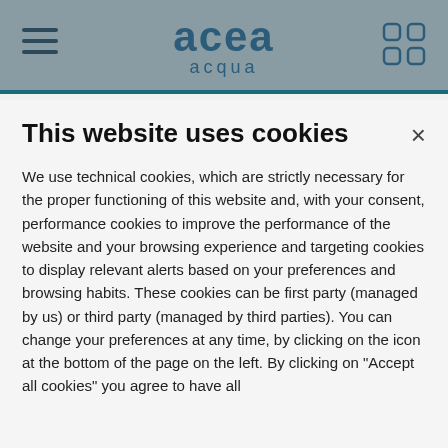acea acqua
This website uses cookies
We use technical cookies, which are strictly necessary for the proper functioning of this website and, with your consent, performance cookies to improve the performance of the website and your browsing experience and targeting cookies to display relevant alerts based on your preferences and browsing habits. These cookies can be first party (managed by us) or third party (managed by third parties). You can change your preferences at any time, by clicking on the icon at the bottom of the page on the left. By clicking on "Accept all cookies" you agree to have all